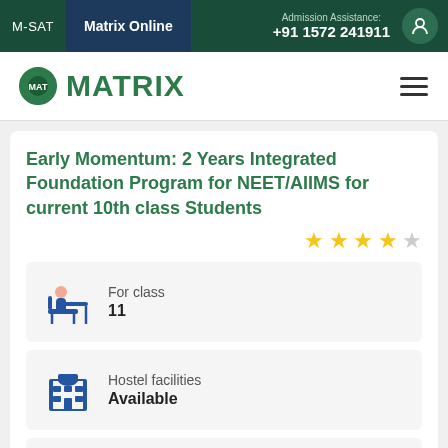M-SAT | Matrix Online | Admission Assistance: +91 1572 241911
[Figure (logo): Matrix logo with gear icon and green MATRIX text]
Early Momentum: 2 Years Integrated Foundation Program for NEET/AIIMS for current 10th class Students
Rating: 3.5 out of 5 stars
For class
11
Hostel facilities
Available
Course duration
18-24 months